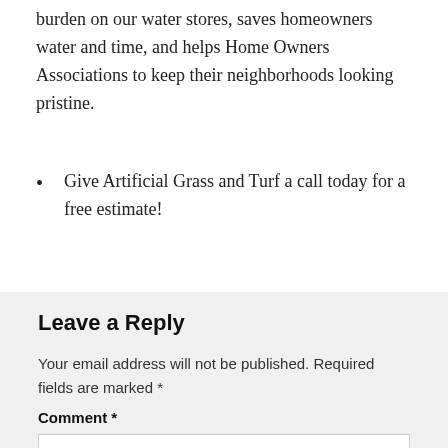burden on our water stores, saves homeowners water and time, and helps Home Owners Associations to keep their neighborhoods looking pristine.
Give Artificial Grass and Turf a call today for a free estimate!
Leave a Reply
Your email address will not be published. Required fields are marked *
Comment *